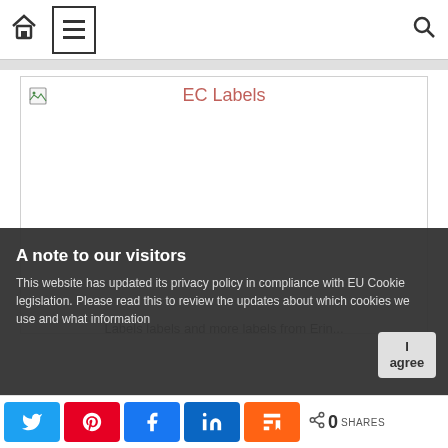Navigation bar with home icon, hamburger menu, and search icon
[Figure (screenshot): EC Labels image card with broken image icon and pink 'EC Labels' title text on white background]
A note to our visitors
This website has updated its privacy policy in compliance with EU Cookie legislation. Please read this to review the updates about which cookies we use and what information
Labels labels and more labels from Erin...
Social share bar: Twitter, Pinterest, Facebook, LinkedIn, Mix buttons. 0 SHARES